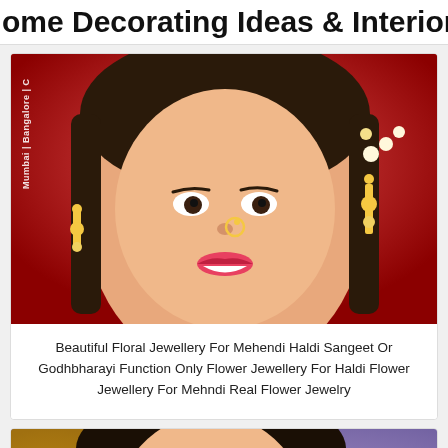Home Decorating Ideas & Interior Des…
[Figure (photo): Close-up photo of a smiling Indian bride wearing gold floral earrings and jewelry against a red background, with a vertical watermark reading 'Mumbai | Bangalore | C']
Beautiful Floral Jewellery For Mehendi Haldi Sangeet Or Godhbharayi Function Only Flower Jewellery For Haldi Flower Jewellery For Mehndi Real Flower Jewelry
[Figure (photo): Photo of a smiling Indian bride wearing yellow flower earrings and a green-yellow outfit with gold jewelry and mehndi hands, purple background]